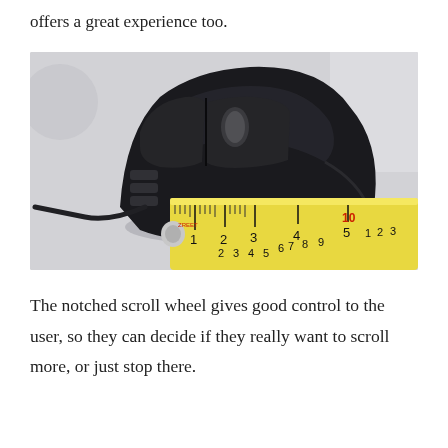offers a great experience too.
[Figure (photo): A black gaming mouse with a wired cable and textured grip, placed next to a yellow measuring tape showing measurements from approximately 1 to 5, photographed on a light gray/white surface.]
The notched scroll wheel gives good control to the user, so they can decide if they really want to scroll more, or just stop there.